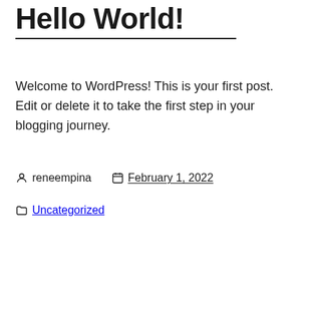Hello World!
Welcome to WordPress! This is your first post. Edit or delete it to take the first step in your blogging journey.
reneempina   February 1, 2022
Uncategorized